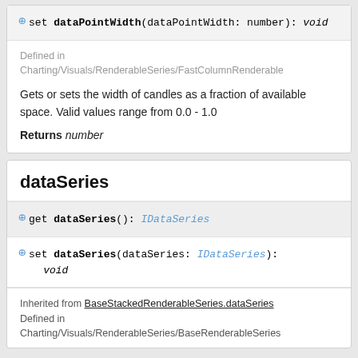set dataPointWidth(dataPointWidth: number): void
Defined in
Charting/Visuals/RenderableSeries/FastColumnRenderable
Gets or sets the width of candles as a fraction of available space. Valid values range from 0.0 - 1.0
Returns number
dataSeries
get dataSeries(): IDataSeries
set dataSeries(dataSeries: IDataSeries): void
Inherited from BaseStackedRenderableSeries.dataSeries
Defined in
Charting/Visuals/RenderableSeries/BaseRenderableSeries